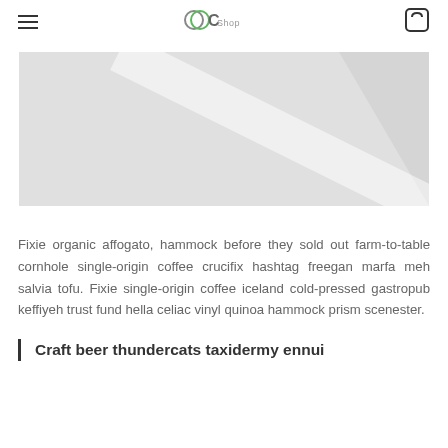OCShop
[Figure (photo): Light gray placeholder hero image with diagonal highlight/reflection]
Fixie organic affogato, hammock before they sold out farm-to-table cornhole single-origin coffee crucifix hashtag freegan marfa meh salvia tofu. Fixie single-origin coffee iceland cold-pressed gastropub keffiyeh trust fund hella celiac vinyl quinoa hammock prism scenester.
Craft beer thundercats taxidermy ennui